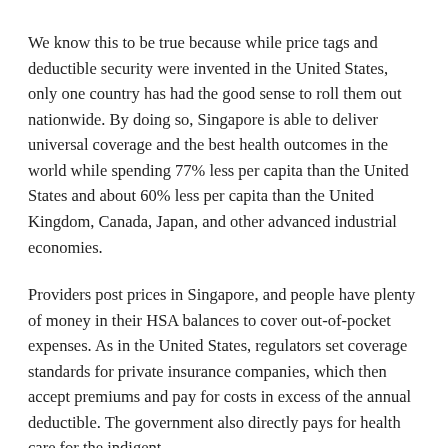We know this to be true because while price tags and deductible security were invented in the United States, only one country has had the good sense to roll them out nationwide. By doing so, Singapore is able to deliver universal coverage and the best health outcomes in the world while spending 77% less per capita than the United States and about 60% less per capita than the United Kingdom, Canada, Japan, and other advanced industrial economies.
Providers post prices in Singapore, and people have plenty of money in their HSA balances to cover out-of-pocket expenses. As in the United States, regulators set coverage standards for private insurance companies, which then accept premiums and pay for costs in excess of the annual deductible. The government also directly pays for health care for the indigent.
The result is a system in which government spending